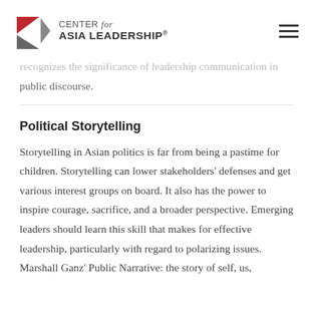CENTER for ASIA LEADERSHIP®
recognizes the significance of leadership communication in public discourse.
Political Storytelling
Storytelling in Asian politics is far from being a pastime for children. Storytelling can lower stakeholders' defenses and get various interest groups on board. It also has the power to inspire courage, sacrifice, and a broader perspective. Emerging leaders should learn this skill that makes for effective leadership, particularly with regard to polarizing issues. Marshall Ganz' Public Narrative: the story of self, us,